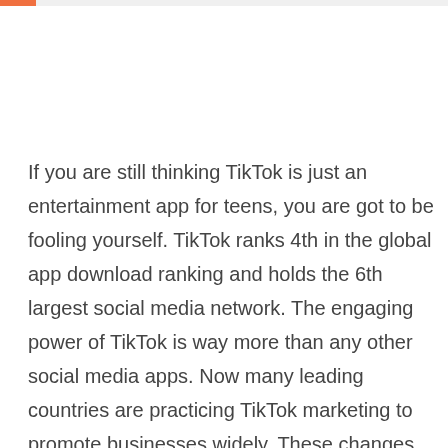If you are still thinking TikTok is just an entertainment app for teens, you are got to be fooling yourself. TikTok ranks 4th in the global app download ranking and holds the 6th largest social media network. The engaging power of TikTok is way more than any other social media apps. Now many leading countries are practicing TikTok marketing to promote businesses widely. These changes had led many Digital marketing Malaysia agencies to think beyond normal